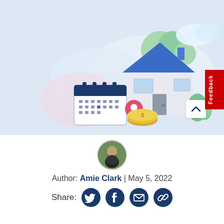[Figure (illustration): Hero illustration showing a house with a blue roof, trees, a calendar, a location pin, gold coins with dollar sign, and a red mailbox, on a light blue background.]
[Figure (photo): Circular avatar photo of author Amie Clark, a woman in a black jacket against a green background.]
Author: Amie Clark | May 5, 2022
Share: